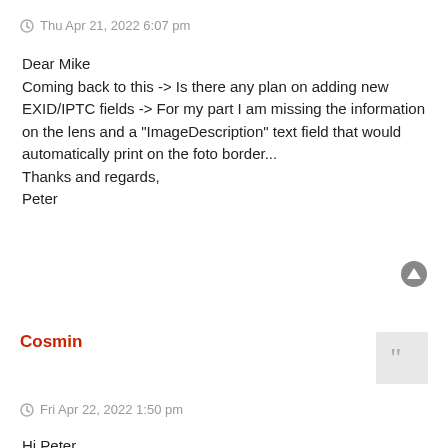Thu Apr 21, 2022 6:07 pm
Dear Mike
Coming back to this -> Is there any plan on adding new EXID/IPTC fields -> For my part I am missing the information on the lens and a "ImageDescription" text field that would automatically print on the foto border...
Thanks and regards,
Peter
Cosmin
Fri Apr 22, 2022 1:50 pm
Hi Peter,

A new version of BatchPhoto is in the works right now. We will